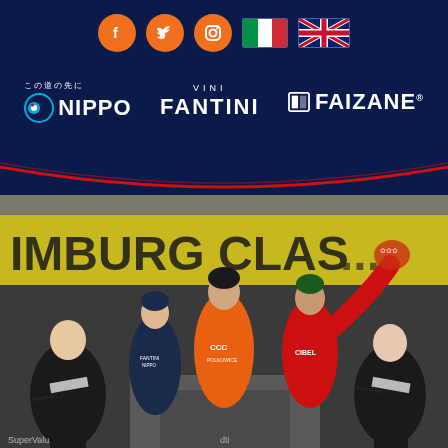[Figure (logo): Nippo logo with Japanese text この道の先に and circular blue/green icon]
[Figure (logo): Vini Fantini logo in white text on dark navy background]
[Figure (logo): Faizane logo with icon and white text on dark navy background]
[Figure (photo): Cycling podium photo at Hamburg Classic 2017 showing three cyclists and two podium hostesses. Center rider in orange CCC Polkowice kit, left rider in Vini Fantini Nippo dark kit, right rider in red Cibel kit. Event banner reads IMBURG CLASSIC 2017.]